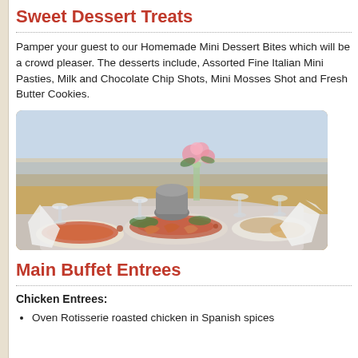Sweet Dessert Treats
Pamper your guest to our Homemade Mini Dessert Bites which will be a crowd pleaser. The desserts include, Assorted Fine Italian Mini Pasties, Milk and Chocolate Chip Shots, Mini Mosses Shot and Fresh Butter Cookies.
[Figure (photo): A lavishly set outdoor dining table on a beach, with various food dishes, seafood, salads, wine glasses, a floral centerpiece, and the ocean in the background.]
Main Buffet Entrees
Chicken Entrees:
Oven Rotisserie roasted chicken in Spanish spices